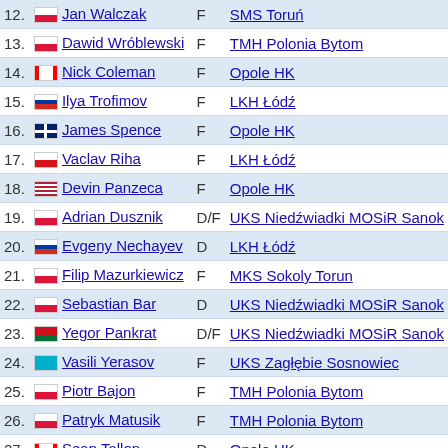| # | Player | Pos | Club |
| --- | --- | --- | --- |
| 12. | Jan Walczak | F | SMS Toruń |
| 13. | Dawid Wróblewski | F | TMH Polonia Bytom |
| 14. | Nick Coleman | F | Opole HK |
| 15. | Ilya Trofimov | F | LKH Łódź |
| 16. | James Spence | F | Opole HK |
| 17. | Vaclav Riha | F | LKH Łódź |
| 18. | Devin Panzeca | F | Opole HK |
| 19. | Adrian Dusznik | D/F | UKS Niedźwiadki MOSiR Sanok |
| 20. | Evgeny Nechayev | D | LKH Łódź |
| 21. | Filip Mazurkiewicz | F | MKS Sokoly Torun |
| 22. | Sebastian Bar | D | UKS Niedźwiadki MOSiR Sanok |
| 23. | Yegor Pankrat | D/F | UKS Niedźwiadki MOSiR Sanok |
| 24. | Vasili Yerasov | F | UKS Zagłębie Sosnowiec |
| 25. | Piotr Bajon | F | TMH Polonia Bytom |
| 26. | Patryk Matusik | F | TMH Polonia Bytom |
| 27. | Sean Tallon | D | Opole HK |